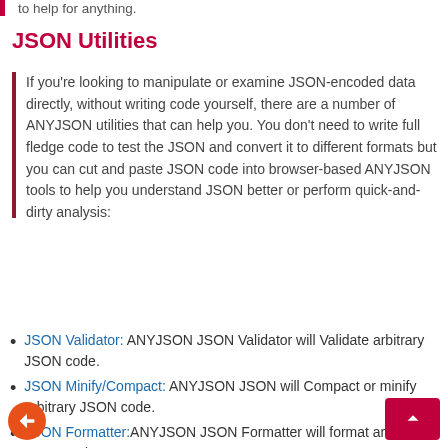to help for anything.
JSON Utilities
If you're looking to manipulate or examine JSON-encoded data directly, without writing code yourself, there are a number of ANYJSON utilities that can help you. You don't need to write full fledge code to test the JSON and convert it to different formats but you can cut and paste JSON code into browser-based ANYJSON tools to help you understand JSON better or perform quick-and-dirty analysis:
JSON Validator: ANYJSON JSON Validator will Validate arbitrary JSON code.
JSON Minify/Compact: ANYJSON JSON will Compact or minify arbitrary JSON code.
JSON Formatter:ANYJSON JSON Formatter will format arbitrary JSON code.
JSON Beautifier:If you want to “pretty print” your JSON code, with syntax coloring and the like, ANYJSON PrettyPrint can help you out and it has the